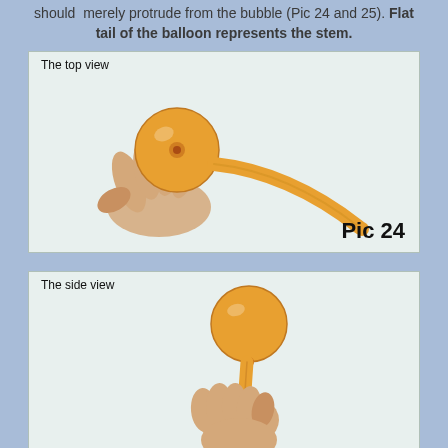should merely protrude from the bubble (Pic 24 and 25). Flat tail of the balloon represents the stem.
[Figure (photo): Top view of a hand holding a round orange balloon bubble with a long curved orange tail/stem extending to the lower right. Labeled 'The top view' and 'Pic 24'.]
[Figure (photo): Side view of a hand holding a long orange balloon stem upright with a round orange bubble on top. Labeled 'The side view'.]